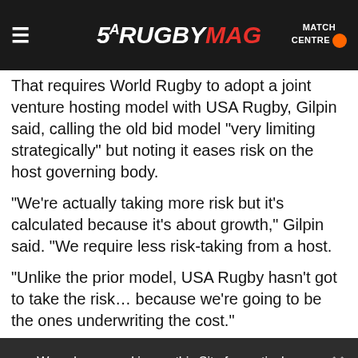SA RUGBY MAG — MATCH CENTRE
That requires World Rugby to adopt a joint venture hosting model with USA Rugby, Gilpin said, calling the old bid model “very limiting strategically” but noting it eases risk on the host governing body.
“We’re actually taking more risk but it’s calculated because it’s about growth,” Gilpin said. “We require less risk-taking from a host.
“Unlike the prior model, USA Rugby hasn’t got to take the risk… because we’re going to be the ones underwriting the cost.”
We only use cookies on this Site for particular features to work, the cookies do not collect and/or store any personal information about you.